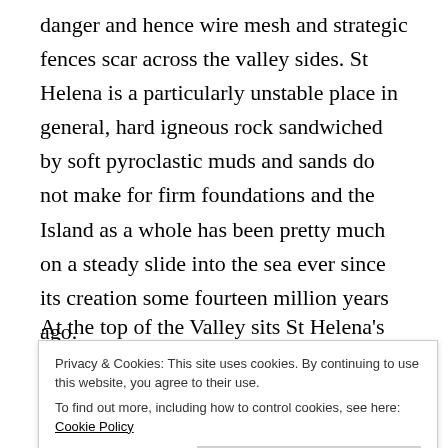danger and hence wire mesh and strategic fences scar across the valley sides. St Helena is a particularly unstable place in general, hard igneous rock sandwiched by soft pyroclastic muds and sands do not make for firm foundations and the Island as a whole has been pretty much on a steady slide into the sea ever since its creation some fourteen million years ago.
At the top of the Valley sits St Helena's Hospital, a
dominates the sky line, as Mediterranean looking
Privacy & Cookies: This site uses cookies. By continuing to use this website, you agree to their use. To find out more, including how to control cookies, see here: Cookie Policy
Close and accept